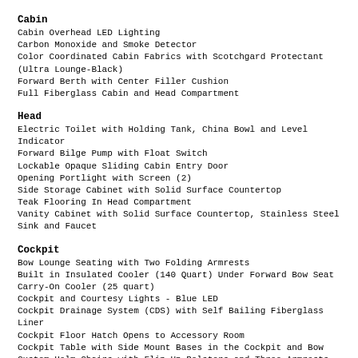Cabin
Cabin Overhead LED Lighting
Carbon Monoxide and Smoke Detector
Color Coordinated Cabin Fabrics with Scotchgard Protectant (Ultra Lounge-Black)
Forward Berth with Center Filler Cushion
Full Fiberglass Cabin and Head Compartment
Head
Electric Toilet with Holding Tank, China Bowl and Level Indicator
Forward Bilge Pump with Float Switch
Lockable Opaque Sliding Cabin Entry Door
Opening Portlight with Screen (2)
Side Storage Cabinet with Solid Surface Countertop
Teak Flooring In Head Compartment
Vanity Cabinet with Solid Surface Countertop, Stainless Steel Sink and Faucet
Cockpit
Bow Lounge Seating with Two Folding Armrests
Built in Insulated Cooler (140 Quart) Under Forward Bow Seat
Carry-On Cooler (25 quart)
Cockpit and Courtesy Lights - Blue LED
Cockpit Drainage System (CDS) with Self Bailing Fiberglass Liner
Cockpit Floor Hatch Opens to Accessory Room
Cockpit Table with Side Mount Bases in the Cockpit and Bow
Custom Helm Chairs with Flip-Up Bolsters and Three Armrests
Custom Molded Cockpit Side Panel Storage (Bow and Cockpit)
Custom Molded Dash with Hand Stitched Upholstery Visor
DC Power Plugs - 12volt